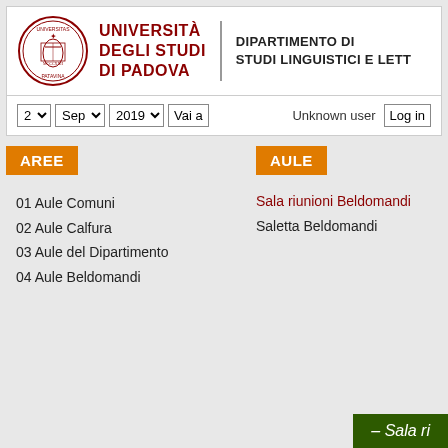[Figure (logo): Università degli Studi di Padova logo with circular seal and red text]
DIPARTIMENTO DI STUDI LINGUISTICI E LETT...
2 ▾  Sep ▾  2019 ▾  Vai a   Unknown user  Log in
AREE
AULE
Sala riunioni Beldomandi
Saletta Beldomandi
01 Aule Comuni
02 Aule Calfura
03 Aule del Dipartimento
04 Aule Beldomandi
– Sala ri...